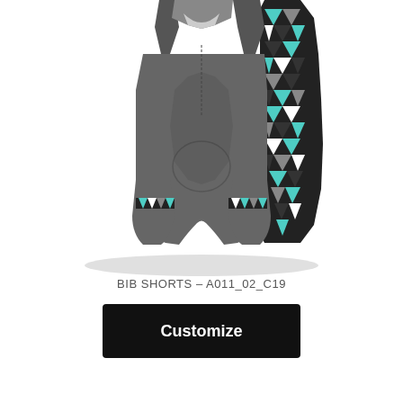[Figure (illustration): Product illustration of bib shorts (cycling/triathlon style) in dark gray with geometric triangle pattern panels on the sides in black, gray, white, and teal/turquoise colors. The bib shorts have shoulder straps visible at the top, a chamois pad area indicated by a circular outline, and decorative triangle pattern trim at the leg openings. The garment is shown on a white background with a subtle shadow.]
BIB SHORTS – A011_02_C19
Customize